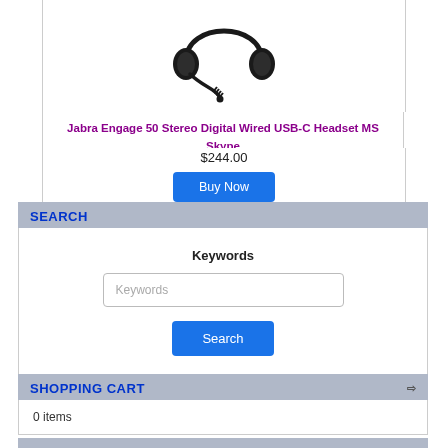[Figure (photo): Photo of a Jabra Engage 50 Stereo Digital Wired USB-C headset, black, shown against white background]
Jabra Engage 50 Stereo Digital Wired USB-C Headset MS Skype
$244.00
Buy Now
SEARCH
Keywords
Use keywords to find the product you are looking for.
SHOPPING CART
0 items